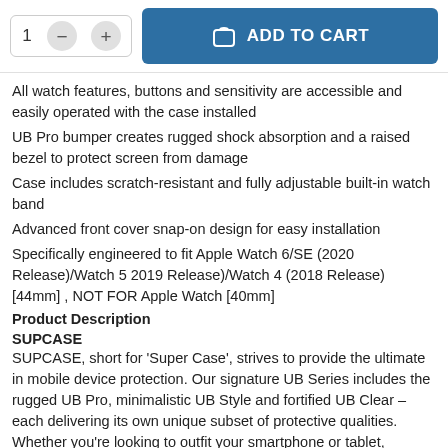1 — + ADD TO CART (quantity selector and add to cart button)
All watch features, buttons and sensitivity are accessible and easily operated with the case installed
UB Pro bumper creates rugged shock absorption and a raised bezel to protect screen from damage
Case includes scratch-resistant and fully adjustable built-in watch band
Advanced front cover snap-on design for easy installation
Specifically engineered to fit Apple Watch 6/SE (2020 Release)/Watch 5 2019 Release)/Watch 4 (2018 Release) [44mm] , NOT FOR Apple Watch [40mm]
Product Description
SUPCASE
SUPCASE, short for 'Super Case', strives to provide the ultimate in mobile device protection. Our signature UB Series includes the rugged UB Pro, minimalistic UB Style and fortified UB Clear – each delivering its own unique subset of protective qualities. Whether you're looking to outfit your smartphone or tablet,